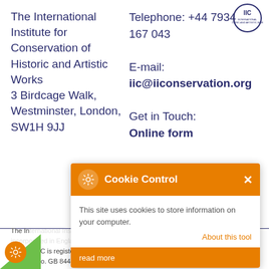[Figure (logo): IIC circular logo with text around the border]
The International Institute for Conservation of Historic and Artistic Works
3 Birdcage Walk, Westminster, London, SW1H 9JJ
Telephone: +44 7934 167 043
E-mail: iic@iiconservation.org
Get in Touch: Online form
[Figure (screenshot): Cookie Control popup overlay with orange header showing gear icon, title 'Cookie Control' and close X button. Body text: 'This site uses cookies to store information on your computer.' with 'About this tool' link and 'read more' button.]
The In[ternational Institute for Conservation is a] company limited by guara[ntee, incorporated in England an]d Wales (No. 481522) [an]d a [registered ch]arity (No. 209677) IIC is registered [for VA]T (No. GB 844 8844 18)